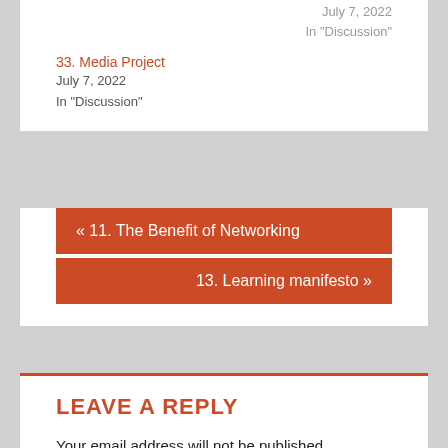July 7, 2022
In "Discussion"
33. Media Project
July 7, 2022
In "Discussion"
« 11. The Benefit of Networking
13. Learning manifesto »
LEAVE A REPLY
Your email address will not be published. Required fields are marked *
Comment *